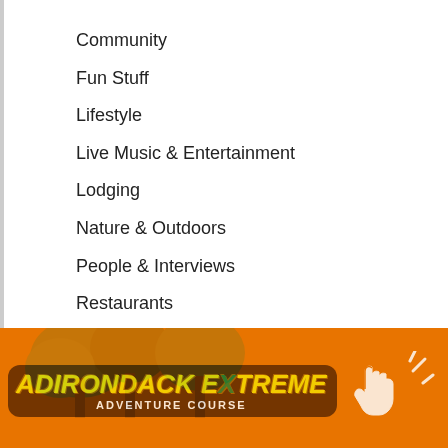Community
Fun Stuff
Lifestyle
Live Music & Entertainment
Lodging
Nature & Outdoors
People & Interviews
Restaurants
Shopping
Uncategorized
Weekend Roundup
SUBSCRIBE
[Figure (logo): Adirondack Extreme Adventure Course logo on an orange banner background with a clicking hand icon]